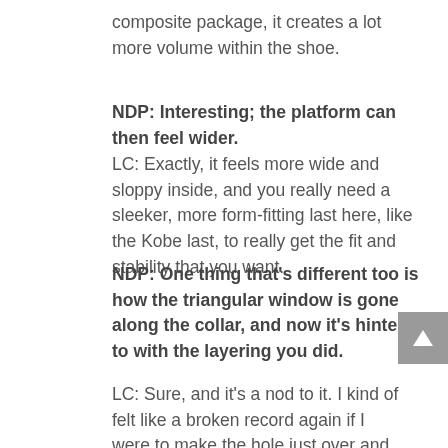composite package, it creates a lot more volume within the shoe.
NDP: Interesting; the platform can then feel wider.
LC: Exactly, it feels more wide and sloppy inside, and you really need a sleeker, more form-fitting last here, like the Kobe last, to really get the fit and stability that you want.
NDP: One thing that's different too is how the triangular window is gone along the collar, and now it's hinted to with the layering you did.
LC: Sure, and it's a nod to it. I kind of felt like a broken record again if I were to make the hole just over and over, and I wanted to try something different. The rest of the upper was so meshy feeling, that maybe filling that in made sense.
NDP: Something that Zac and I really liked from the KD line was the notch that you guys added into the collar.